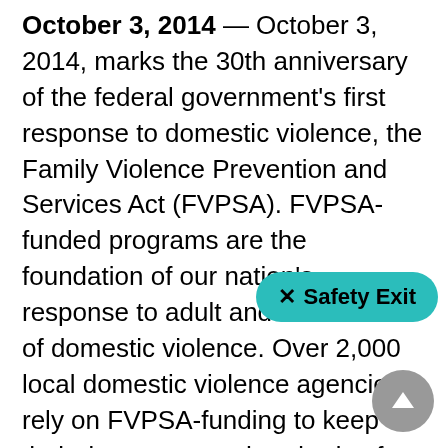October 3, 2014 — October 3, 2014, marks the 30th anniversary of the federal government's first response to domestic violence, the Family Violence Prevention and Services Act (FVPSA). FVPSA-funded programs are the foundation of our nation's response to adult and child victims of domestic violence. Over 2,000 local domestic violence agencies rely on FVPSA-funding to keep their doors open to hundreds of thousands of victims seeking safety each year. FVPSA, which is administered by the U.S. Department of Health and Human Services, funds essential services that are at the core of ending domestic violence: emergency shelters, hotlines, counseling and advocacy, legal assistance, job readiness